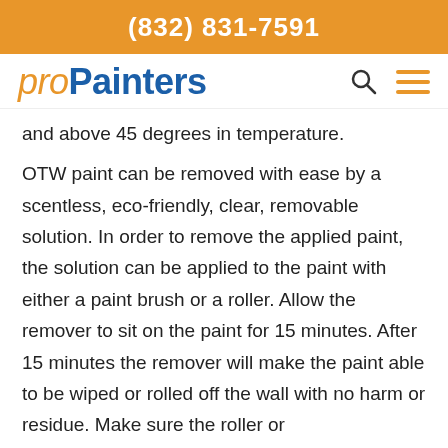(832) 831-7591
[Figure (logo): proPainters logo with search and menu icons]
and above 45 degrees in temperature.
OTW paint can be removed with ease by a scentless, eco-friendly, clear, removable solution. In order to remove the applied paint, the solution can be applied to the paint with either a paint brush or a roller. Allow the remover to sit on the paint for 15 minutes. After 15 minutes the remover will make the paint able to be wiped or rolled off the wall with no harm or residue. Make sure the roller or